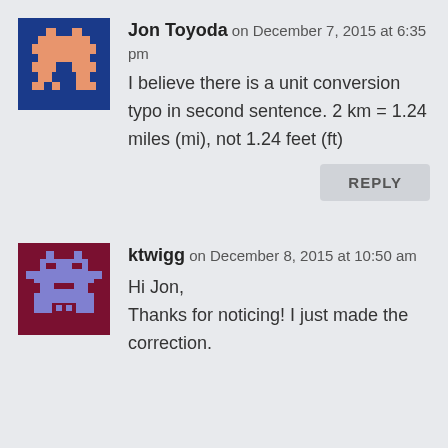[Figure (illustration): Pixel art avatar on blue background showing an orange space invader style character]
Jon Toyoda on December 7, 2015 at 6:35 pm
I believe there is a unit conversion typo in second sentence. 2 km = 1.24 miles (mi), not 1.24 feet (ft)
REPLY
[Figure (illustration): Pixel art avatar on dark red background showing a purple/blue robot style character]
ktwigg on December 8, 2015 at 10:50 am
Hi Jon,
Thanks for noticing! I just made the correction.